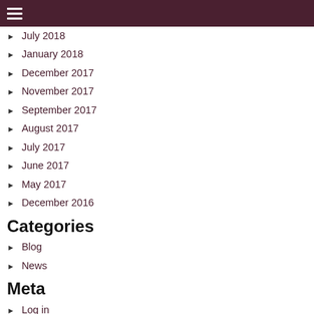≡
July 2018
January 2018
December 2017
November 2017
September 2017
August 2017
July 2017
June 2017
May 2017
December 2016
Categories
Blog
News
Meta
Log in
Entries RSS
Comments RSS
WordPress.org